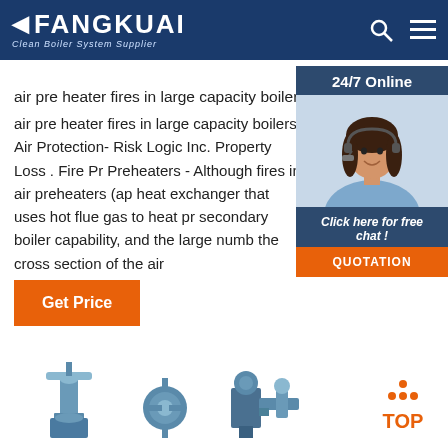FANGKUAI - Clean Boiler System Supplier
air pre heater fires in large capacity boilers
air pre heater fires in large capacity boilers. Air Protection- Risk Logic Inc. Property Loss . Fire Pr Preheaters - Although fires in air preheaters (ap heat exchanger that uses hot flue gas to heat pr secondary boiler capability, and the large numb the cross section of the air
[Figure (photo): Customer service agent - woman with headset smiling, with 24/7 Online label, Click here for free chat text, and QUOTATION button]
[Figure (infographic): TOP navigation button with orange dots above it]
[Figure (photo): Industrial boiler/valve product images at bottom of page]